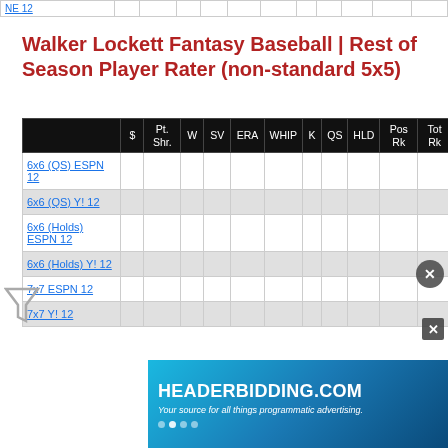|  | $ | Pt. Shr. | W | SV | ERA | WHIP | K | QS | HLD | Pos Rk | Tot Rk |
| --- | --- | --- | --- | --- | --- | --- | --- | --- | --- | --- | --- |
| NE 12 |  |  |  |  |  |  |  |  |  |  |  |
| 6x6 (QS) ESPN 12 |  |  |  |  |  |  |  |  |  |  |  |
| 6x6 (QS) Y! 12 |  |  |  |  |  |  |  |  |  |  |  |
| 6x6 (Holds) ESPN 12 |  |  |  |  |  |  |  |  |  |  |  |
| 6x6 (Holds) Y! 12 |  |  |  |  |  |  |  |  |  |  |  |
| 7x7 ESPN 12 |  |  |  |  |  |  |  |  |  |  |  |
| 7x7 Y! 12 |  |  |  |  |  |  |  |  |  |  |  |
Walker Lockett Fantasy Baseball | Rest of Season Player Rater (non-standard 5x5)